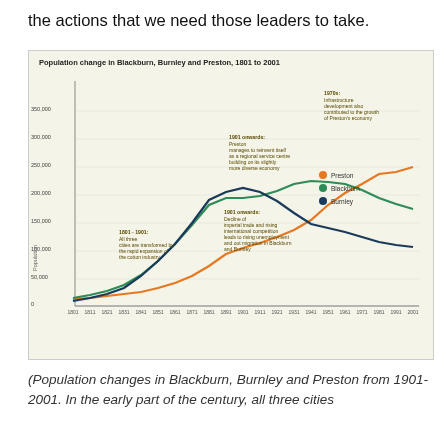the actions that we need those leaders to take.
[Figure (line-chart): Population change in Blackburn, Burnley and Preston, 1801 to 2001]
(Population changes in Blackburn, Burnley and Preston from 1901-2001. In the early part of the century, all three cities